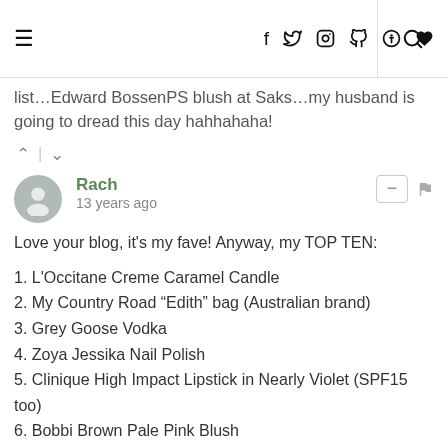Navigation header with hamburger menu, social icons (f, twitter, instagram, pinterest, heart), search icon
list…Edward BossenPS blush at Saks…my husband is going to dread this day hahhahaha!
Rach · 13 years ago
Love your blog, it&#39s my fave! Anyway, my TOP TEN:
1. L&#39Occitane Creme Caramel Candle
2. My Country Road "Edith" bag (Australian brand)
3. Grey Goose Vodka
4. Zoya Jessika Nail Polish
5. Clinique High Impact Lipstick in Nearly Violet (SPF15 too)
6. Bobbi Brown Pale Pink Blush
7. Time Balm The Balm Concealer
8. Max Factor Masterpiece MAX